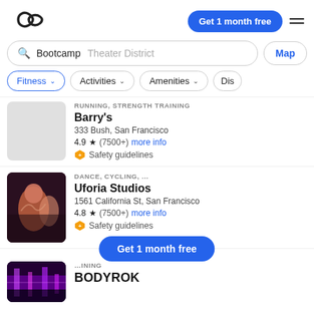[Figure (logo): ClassPass infinity-style logo icon]
Get 1 month free
☰ hamburger menu icon
Bootcamp Theater District
Map
Fitness ∨
Activities ∨
Amenities ∨
Dis…
RUNNING, STRENGTH TRAINING
Barry's
333 Bush, San Francisco
4.9 ★ (7500+) more info
Safety guidelines
[Figure (photo): Photo of woman dancing at Uforia Studios]
DANCE, CYCLING, ...
Uforia Studios
1561 California St, San Francisco
4.8 ★ (7500+) more info
Safety guidelines
[Figure (photo): Partial photo with purple lighting (BODYROK listing)]
Get 1 month free
BODYROK